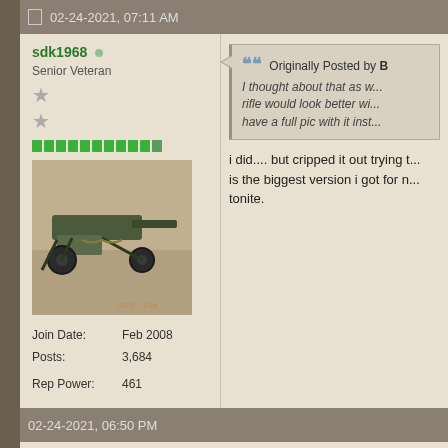02-24-2021, 07:11 AM
sdk1968
Senior Veteran
Join Date: Feb 2008
Posts: 3,684
Rep Power: 461
[Figure (photo): Avatar image showing a military-style machine gun or weapon on a wheeled mount on a concrete floor]
Originally Posted by B
I thought about that as w... rifle would look better wi... have a full pic with it inst...
i did.... but cripped it out trying t... is the biggest version i got for n... tonite.
say what you mean
TEC Tactical=S=
02-24-2021, 06:50 PM
sdk1968
here ya go....